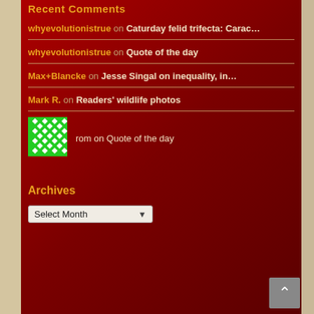Recent Comments
whyevolutionistrue on Caturday felid trifecta: Carac…
whyevolutionistrue on Quote of the day
Max+Blancke on Jesse Singal on inequality, in…
Mark R. on Readers' wildlife photos
[Figure (illustration): Green avatar with white diamond/dot pattern grid]
rom on Quote of the day
Archives
Select Month